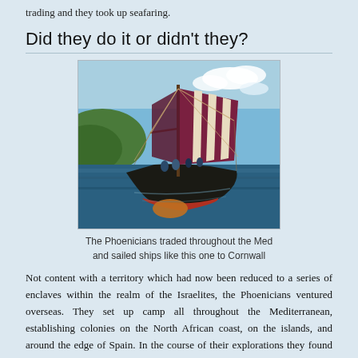trading and they took up seafaring.
Did they do it or didn't they?
[Figure (photo): A wooden sailing ship with large dark reddish-purple and cream striped sails, floating on blue ocean water near green hills. Several crew members are visible on deck. This is a replica of a Phoenician trading vessel.]
The Phoenicians traded throughout the Med and sailed ships like this one to Cornwall
Not content with a territory which had now been reduced to a series of enclaves within the realm of the Israelites, the Phoenicians ventured overseas. They set up camp all throughout the Mediterranean, establishing colonies on the North African coast, on the islands, and around the edge of Spain. In the course of their explorations they found the silver and lead in the Spanish hills, and they carried it off by the ship-